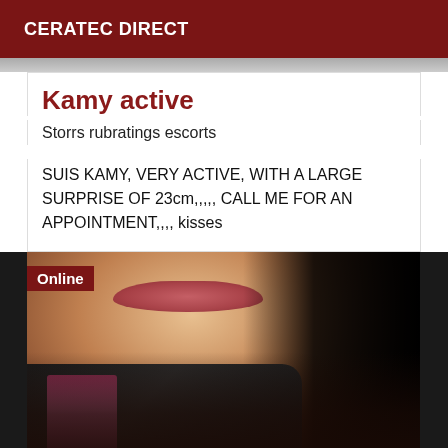CERATEC DIRECT
Kamy active
Storrs rubratings escorts
SUIS KAMY, VERY ACTIVE, WITH A LARGE SURPRISE OF 23cm,,,,, CALL ME FOR AN APPOINTMENT,,,, kisses
[Figure (photo): Close-up photo of a person wearing a dark turtleneck and pink jacket, with an 'Online' badge in the upper left corner]